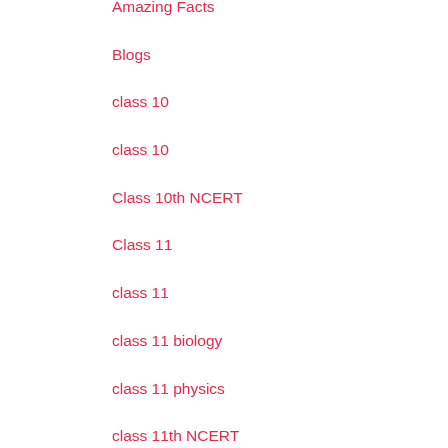Amazing Facts
Blogs
class 10
class 10
Class 10th NCERT
Class 11
class 11
class 11 biology
class 11 physics
class 11th NCERT
Class 12
class 12
class 12 biology
class 12 ncert question answer